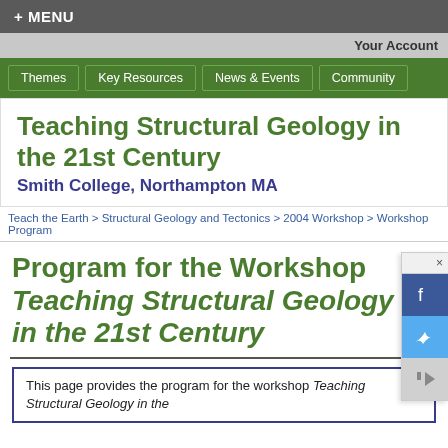+ MENU
Your Account
Themes | Key Resources | News & Events | Community
Teaching Structural Geology in the 21st Century
Smith College, Northampton MA
Teach the Earth > Structural Geology and Tectonics > 2004 Workshop > Workshop Program
Program for the Workshop Teaching Structural Geology in the 21st Century
This page provides the program for the workshop Teaching Structural Geology in the